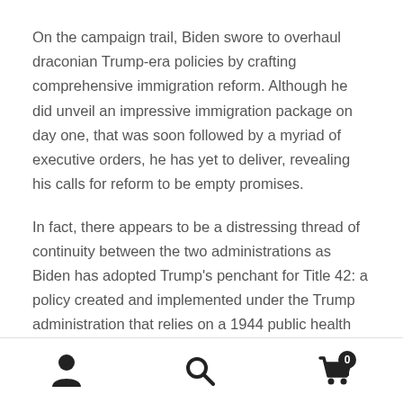On the campaign trail, Biden swore to overhaul draconian Trump-era policies by crafting comprehensive immigration reform. Although he did unveil an impressive immigration package on day one, that was soon followed by a myriad of executive orders, he has yet to deliver, revealing his calls for reform to be empty promises.
In fact, there appears to be a distressing thread of continuity between the two administrations as Biden has adopted Trump's penchant for Title 42: a policy created and implemented under the Trump administration that relies on a 1944 public health statute to close U.S borders from "non-essential" travel. 1 The absence of public and congressional oversight within the policy marks a
[icons: person, search, cart with badge 0]